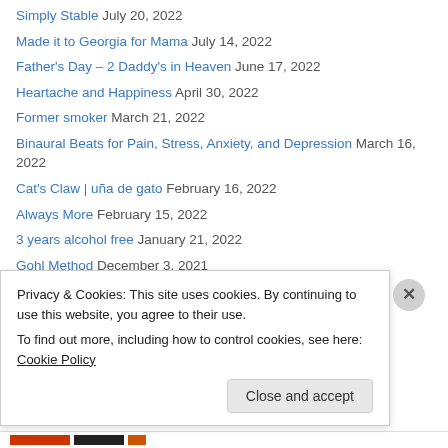Simply Stable July 20, 2022
Made it to Georgia for Mama July 14, 2022
Father's Day – 2 Daddy's in Heaven June 17, 2022
Heartache and Happiness April 30, 2022
Former smoker March 21, 2022
Binaural Beats for Pain, Stress, Anxiety, and Depression March 16, 2022
Cat's Claw | uña de gato February 16, 2022
Always More February 15, 2022
3 years alcohol free January 21, 2022
Gohl Method December 3, 2021
2021 Reflections November 30, 2021
Ball Therapy November 29, 2021
Privacy & Cookies: This site uses cookies. By continuing to use this website, you agree to their use. To find out more, including how to control cookies, see here: Cookie Policy
Close and accept